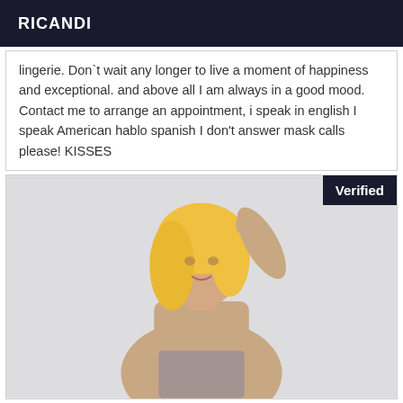RICANDI
lingerie. Don`t wait any longer to live a moment of happiness and exceptional. and above all I am always in a good mood. Contact me to arrange an appointment, i speak in english I speak American hablo spanish I don't answer mask calls please! KISSES
[Figure (photo): Blonde woman posing with hand raised to head, wearing minimal clothing, with a 'Verified' badge in the top right corner]